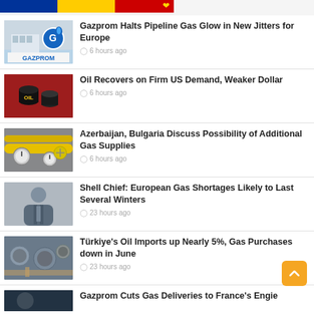[Figure (illustration): Top banner with Romanian/EU flag colors and a heart icon]
[Figure (photo): Gazprom building logo sign with blue flame]
Gazprom Halts Pipeline Gas Glow in New Jitters for Europe
6 hours ago
[Figure (photo): Oil barrels on red background]
Oil Recovers on Firm US Demand, Weaker Dollar
6 hours ago
[Figure (photo): Yellow gas pipeline valves and gauges]
Azerbaijan, Bulgaria Discuss Possibility of Additional Gas Supplies
6 hours ago
[Figure (photo): Portrait of Shell chief executive]
Shell Chief: European Gas Shortages Likely to Last Several Winters
23 hours ago
[Figure (photo): Aerial view of oil storage tanks]
Türkiye's Oil Imports up Nearly 5%, Gas Purchases down in June
23 hours ago
[Figure (photo): Partial image for Gazprom Cuts Gas Deliveries article]
Gazprom Cuts Gas Deliveries to France's Engie